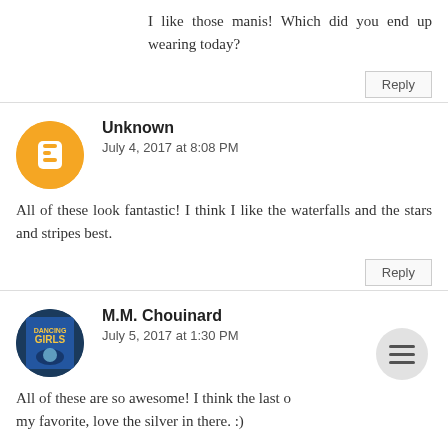I like those manis! Which did you end up wearing today?
Reply
Unknown
July 4, 2017 at 8:08 PM
All of these look fantastic! I think I like the waterfalls and the stars and stripes best.
Reply
M.M. Chouinard
July 5, 2017 at 1:30 PM
All of these are so awesome! I think the last o... my favorite, love the silver in there. :)
Reply